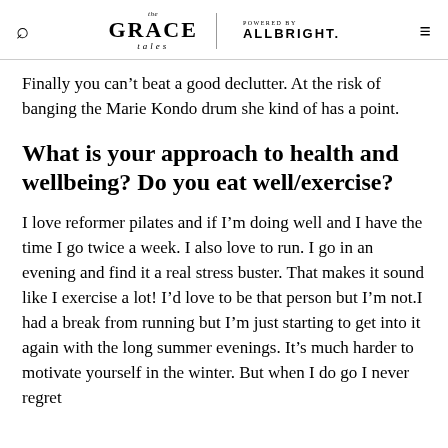The Grace Tales | POWERED BY ALLBRIGHT.
Finally you can't beat a good declutter. At the risk of banging the Marie Kondo drum she kind of has a point.
What is your approach to health and wellbeing? Do you eat well/exercise?
I love reformer pilates and if I'm doing well and I have the time I go twice a week. I also love to run. I go in an evening and find it a real stress buster. That makes it sound like I exercise a lot! I'd love to be that person but I'm not.I had a break from running but I'm just starting to get into it again with the long summer evenings. It's much harder to motivate yourself in the winter. But when I do go I never regret